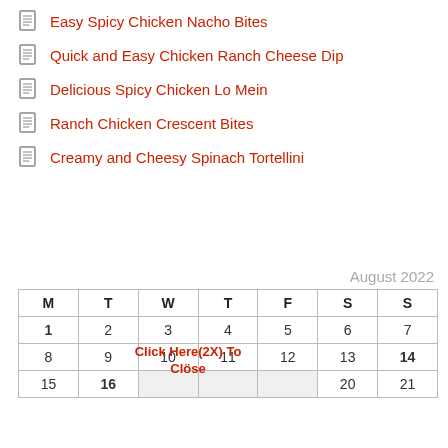Easy Spicy Chicken Nacho Bites
Quick and Easy Chicken Ranch Cheese Dip
Delicious Spicy Chicken Lo Mein
Ranch Chicken Crescent Bites
Creamy and Cheesy Spinach Tortellini
| M | T | W | T | F | S | S |
| --- | --- | --- | --- | --- | --- | --- |
| 1 | 2 | 3 | 4 | 5 | 6 | 7 |
| 8 | 9 | 10 | 11 | 12 | 13 | 14 |
| 15 | 16 |  |  |  | 20 | 21 |
Click Here(2X) To Close